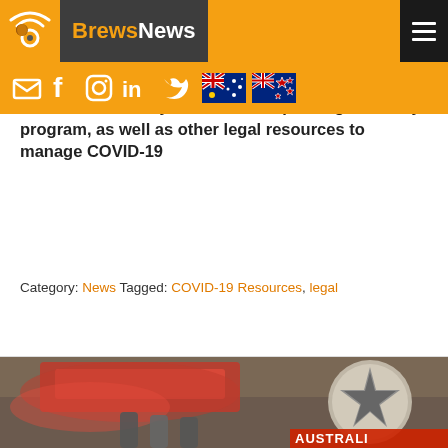BrewsNews
Law firm Winters:Elworth has provided us with an excellent summary of the JobKeeper wage subsidy program, as well as other legal resources to manage COVID-19
Category: News Tagged: COVID-19 Resources, legal
[Figure (photo): Blurred photo of beer bottles/taps with red labels and an Australian beer brand logo visible]